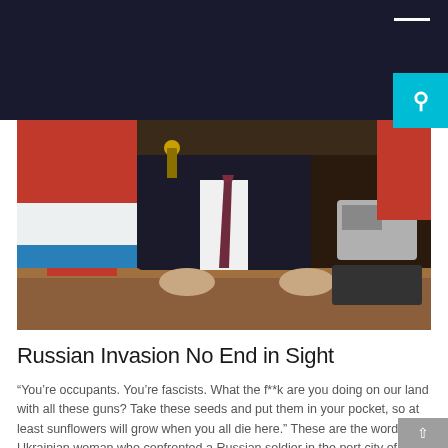[Figure (photo): A man in a dark suit with a burgundy tie sits behind a wooden desk with Russian flags (red, blue, white) in the background and a telephone on the right side of the desk.]
Russian Invasion No End in Sight
“You’re occupants. You’re fascists. What the f**k are you doing on our land with all these guns? Take these seeds and put them in your pocket, so at least sunflowers will grow when you all die here.” These are the words of a Ukrainian woman who confronted a Russian soldier in the port city of [...]